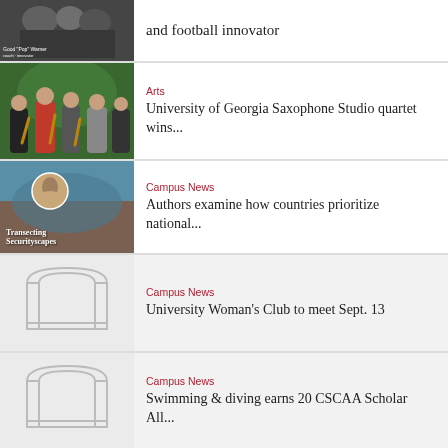[Figure (photo): Black and white photo of people, labeled 'Good Pop Warner']
and football innovator
[Figure (photo): Group of saxophone players outdoors]
Arts
University of Georgia Saxophone Studio quartet wins...
[Figure (photo): Book cover: Transecting Securityscapes with portrait]
Campus News
Authors examine how countries prioritize national...
[Figure (illustration): UGA arch placeholder illustration]
Campus News
University Woman's Club to meet Sept. 13
[Figure (illustration): UGA arch placeholder illustration]
Campus News
Swimming & diving earns 20 CSCAA Scholar All...